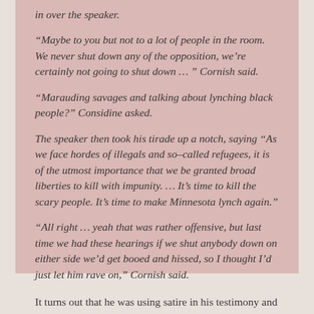in over the speaker.
“Maybe to you but not to a lot of people in the room. We never shut down any of the opposition, we’re certainly not going to shut down … ” Cornish said.
“Marauding savages and talking about lynching black people?” Considine asked.
The speaker then took his tirade up a notch, saying “As we face hordes of illegals and so-called refugees, it is of the utmost importance that we be granted broad liberties to kill with impunity. … It’s time to kill the scary people. It’s time to make Minnesota lynch again.”
“All right … yeah that was rather offensive, but last time we had these hearings if we shut anybody down on either side we’d get booed and hissed, so I thought I’d just let him rave on,” Cornish said.
It turns out that he was using satire in his testimony and